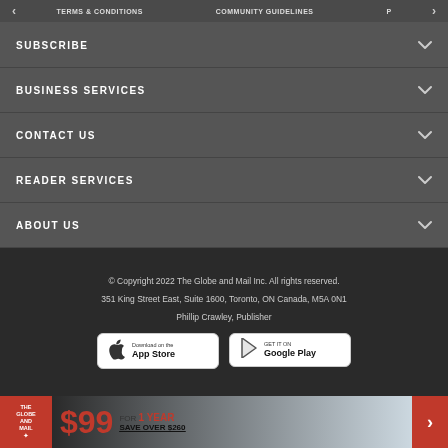TERMS & CONDITIONS   COMMUNITY GUIDELINES
SUBSCRIBE
BUSINESS SERVICES
CONTACT US
READER SERVICES
ABOUT US
© Copyright 2022 The Globe and Mail Inc. All rights reserved.
351 King Street East, Suite 1600, Toronto, ON Canada, M5A 0N1
Phillip Crawley, Publisher
[Figure (screenshot): Download on the App Store button]
[Figure (screenshot): Get it on Google Play button]
[Figure (infographic): The Globe and Mail promotional banner: $99 FOR 1 YEAR SAVE OVER $260]